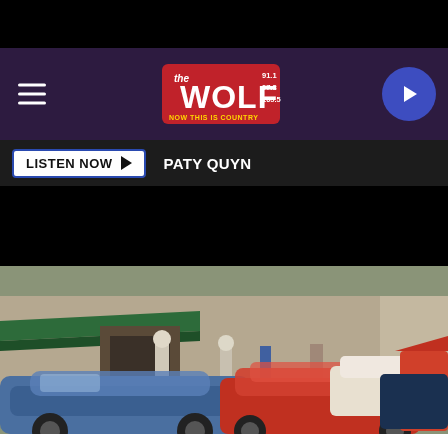[Figure (logo): The Wolf radio station logo (91.1, 97.3, 105.5) on purple/dark background with hamburger menu and play button]
LISTEN NOW  PATY QUYN
[Figure (photo): Outdoor summer car show on a downtown street with classic cars including a blue convertible and red Pontiac Firebird; people browsing the show; storefronts and trees visible in background]
SUMMER CAR SHOWS IN THE